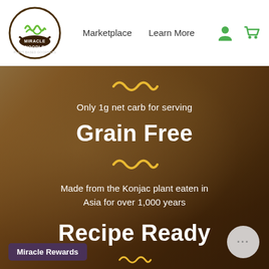Miracle Noodle — Marketplace   Learn More
[Figure (photo): Food photo background showing Konjac noodle dish, brownish tones]
Only 1g net carb for serving
Grain Free
Made from the Konjac plant eaten in Asia for over 1,000 years
Recipe Ready
Miracle Rewards